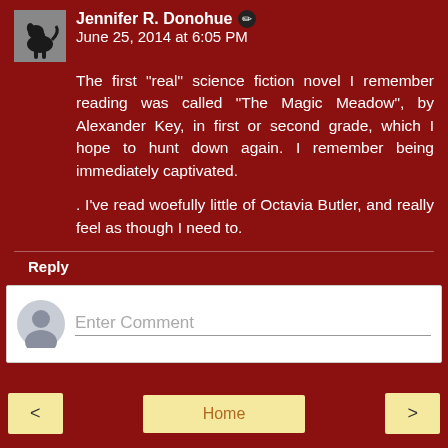Jennifer R. Donohue · June 25, 2014 at 6:05 PM
The first "real" science fiction novel I remember reading was called "The Magic Meadow", by Alexander Key, in first or second grade, which I hope to hunt down again. I remember being immediately captivated.
. I've read woefully little of Octavia Butler, and really feel as though I need to.
Reply
Enter Comment
< | Home | >